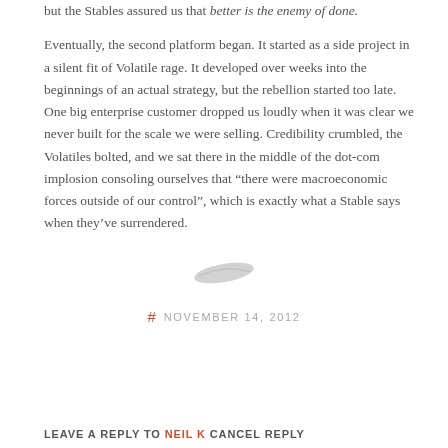but the Stables assured us that better is the enemy of done.
Eventually, the second platform began. It started as a side project in a silent fit of Volatile rage. It developed over weeks into the beginnings of an actual strategy, but the rebellion started too late. One big enterprise customer dropped us loudly when it was clear we never built for the scale we were selling. Credibility crumbled, the Volatiles bolted, and we sat there in the middle of the dot-com implosion consoling ourselves that “there were macroeconomic forces outside of our control”, which is exactly what a Stable says when they’ve surrendered.
[Figure (illustration): Small grey leaf/feather decorative divider]
# NOVEMBER 14, 2012
LEAVE A REPLY TO NEIL K CANCEL REPLY